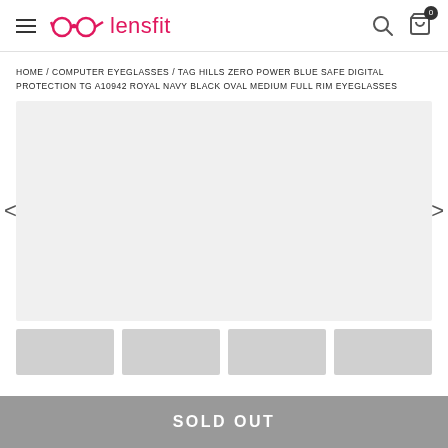lensfit
HOME / COMPUTER EYEGLASSES / TAG HILLS ZERO POWER BLUE SAFE DIGITAL PROTECTION TG A10942 ROYAL NAVY BLACK OVAL MEDIUM FULL RIM EYEGLASSES
[Figure (photo): Product image placeholder - light gray background with left and right navigation arrows]
SOLD OUT